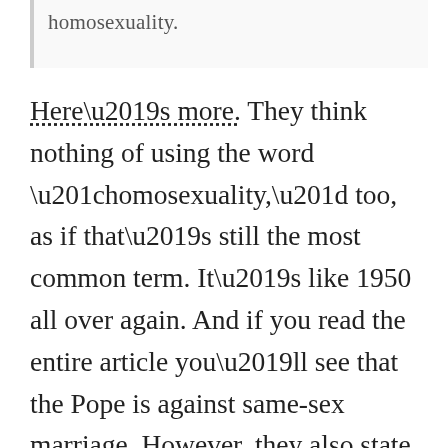homosexuality.
Here’s more. They think nothing of using the word “homosexuality,” too, as if that’s still the most common term. It’s like 1950 all over again. And if you read the entire article you’ll see that the Pope is against same-sex marriage. However, they also state that this is a huge step forward for LGBTQ people in other countries. And that I happen to believe is a good thing.